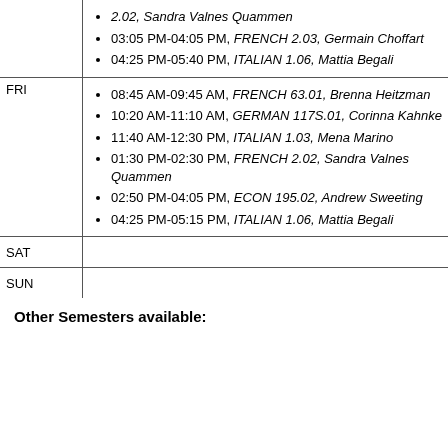| Day | Sessions |
| --- | --- |
| (cont.) | 2.02, Sandra Valnes Quammen; 03:05 PM-04:05 PM, FRENCH 2.03, Germain Choffart; 04:25 PM-05:40 PM, ITALIAN 1.06, Mattia Begali |
| FRI | 08:45 AM-09:45 AM, FRENCH 63.01, Brenna Heitzman; 10:20 AM-11:10 AM, GERMAN 117S.01, Corinna Kahnke; 11:40 AM-12:30 PM, ITALIAN 1.03, Mena Marino; 01:30 PM-02:30 PM, FRENCH 2.02, Sandra Valnes Quammen; 02:50 PM-04:05 PM, ECON 195.02, Andrew Sweeting; 04:25 PM-05:15 PM, ITALIAN 1.06, Mattia Begali |
| SAT |  |
| SUN |  |
Other Semesters available: